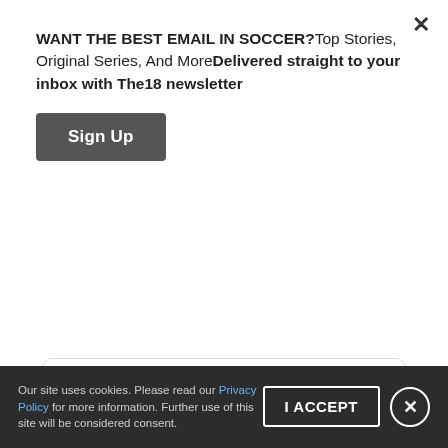WANT THE BEST EMAIL IN SOCCER?Top Stories, Original Series, And MoreDelivered straight to your inbox with The18 newsletter
Sign Up
Read 46 replies
Right before half, Alaba again demonstrated his value with a close-range block on Fati after some incisive Barcelona build-up play. Koeman made the game's first change at halftime by bringing on Philippe Coutinho for Mingueza and moving Dest back into defense, but Los Blancos almost had a second on the hour after Luka Modrić teed
Our site uses cookies. Please read our Privacy Policy for more information. Further use of this site will be considered consent.
I ACCEPT